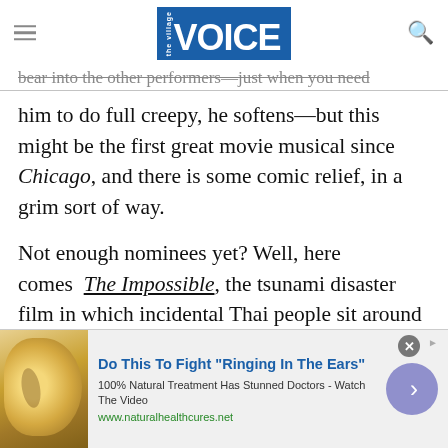the village VOICE
bear into the other performers—just when you need him to do full creepy, he softens—but this might be the first great movie musical since Chicago, and there is some comic relief, in a grim sort of way.
Not enough nominees yet? Well, here comes The Impossible, the tsunami disaster film in which incidental Thai people sit around and watch a well-to-do European family of blah tourists sobbingly reunite—as the actors portraying them vie for honors. Bring on the waves.
[Figure (other): Advertisement banner: ear illustration with text 'Do This To Fight "Ringing In The Ears"', 100% Natural Treatment Has Stunned Doctors - Watch The Video, www.naturalhealthcures.net]